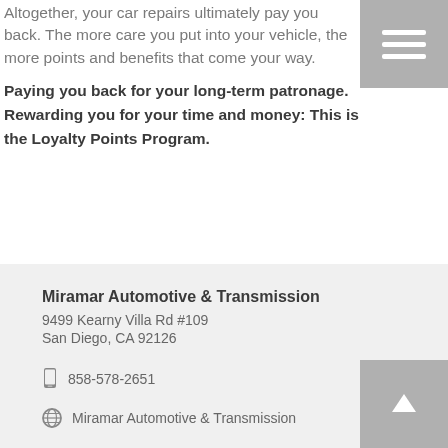Altogether, your car repairs ultimately pay you back. The more care you put into your vehicle, the more points and benefits that come your way.
Paying you back for your long-term patronage. Rewarding you for your time and money: This is the Loyalty Points Program.
Miramar Automotive & Transmission
9499 Kearny Villa Rd #109
San Diego, CA 92126
858-578-2651
Miramar Automotive & Transmission